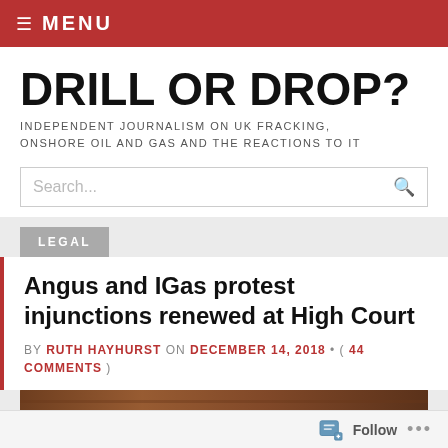≡ MENU
DRILL OR DROP?
INDEPENDENT JOURNALISM ON UK FRACKING, ONSHORE OIL AND GAS AND THE REACTIONS TO IT
LEGAL
Angus and IGas protest injunctions renewed at High Court
BY RUTH HAYHURST ON DECEMBER 14, 2018 • ( 44 COMMENTS )
[Figure (photo): Partially visible photograph, brown/wooden textured subject]
Follow ...